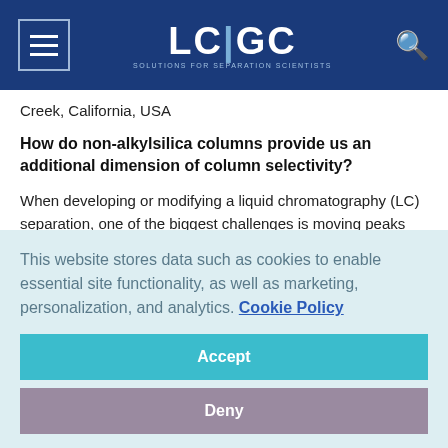LC|GC — SOLUTIONS FOR SEPARATION SCIENTISTS
Creek, California, USA
How do non-alkylsilica columns provide us an additional dimension of column selectivity?
When developing or modifying a liquid chromatography (LC) separation, one of the biggest challenges is moving peaks around to avoid peak overlap. This process involves a change in the selectivity, α, of the separation. As discussed in a
This website stores data such as cookies to enable essential site functionality, as well as marketing, personalization, and analytics. Cookie Policy
Accept
Deny